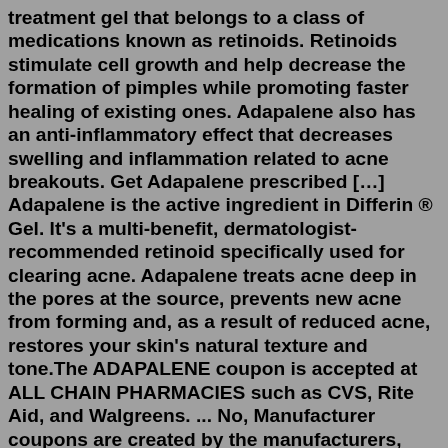treatment gel that belongs to a class of medications known as retinoids. Retinoids stimulate cell growth and help decrease the formation of pimples while promoting faster healing of existing ones. Adapalene also has an anti-inflammatory effect that decreases swelling and inflammation related to acne breakouts. Get Adapalene prescribed […] Adapalene is the active ingredient in Differin ® Gel. It's a multi-benefit, dermatologist-recommended retinoid specifically used for clearing acne. Adapalene treats acne deep in the pores at the source, prevents new acne from forming and, as a result of reduced acne, restores your skin's natural texture and tone.The ADAPALENE coupon is accepted at ALL CHAIN PHARMACIES such as CVS, Rite Aid, and Walgreens. ... No, Manufacturer coupons are created by the manufacturers, while we partner with the pharmacy benefits managers. If you think the manufacturer of ADAPALENE may offer a coupon please do a google search for ADAPALENE manufacturer coupon". If there ...Oct 07, 2021 · What are some things I need to know or do while I take